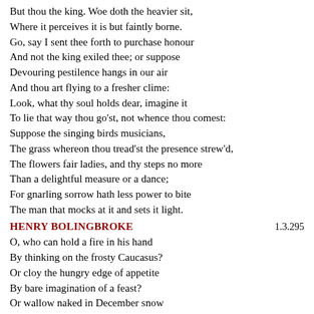But thou the king. Woe doth the heavier sit,
Where it perceives it is but faintly borne.
Go, say I sent thee forth to purchase honour
And not the king exiled thee; or suppose
Devouring pestilence hangs in our air
And thou art flying to a fresher clime:
Look, what thy soul holds dear, imagine it
To lie that way thou go'st, not whence thou comest:
Suppose the singing birds musicians,
The grass whereon thou tread'st the presence strew'd,
The flowers fair ladies, and thy steps no more
Than a delightful measure or a dance;
For gnarling sorrow hath less power to bite
The man that mocks at it and sets it light.
HENRY BOLINGBROKE	1.3.295
O, who can hold a fire in his hand
By thinking on the frosty Caucasus?
Or cloy the hungry edge of appetite
By bare imagination of a feast?
Or wallow naked in December snow
By thinking on fantastic summer's heat?
O, no! the apprehension of the good
Gives but the greater feeling to the worse:
Fell sorrow's tooth doth never rankle more
Than when he bites, but lanceth not the sore.